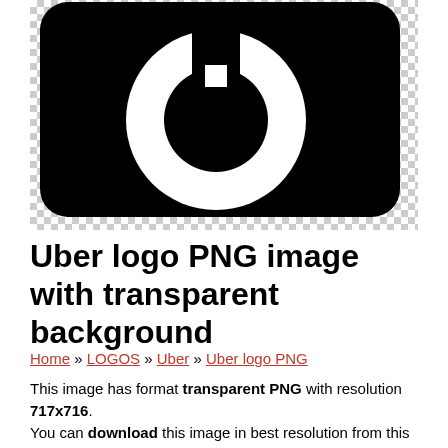[Figure (logo): Uber logo on a black rounded square background with transparent (checkered) background visible around the edges. The logo shows a white circle with a white rectangular notch cut into the top, on a black rounded square.]
Uber logo PNG image with transparent background
Home » LOGOS » Uber » Uber logo PNG
This image has format transparent PNG with resolution 717x716.
You can download this image in best resolution from this page and use it for design and web design.